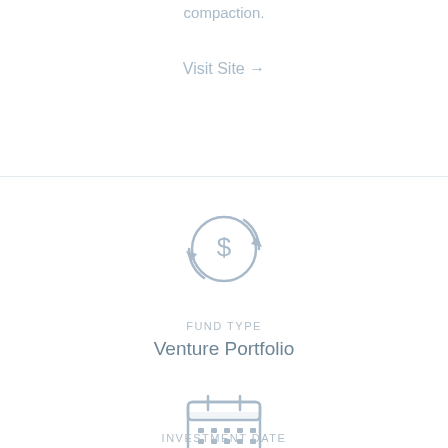compaction.
Visit Site →
[Figure (illustration): Circular money/fund icon with dollar sign and revolving arrows, in light steel blue color]
FUND TYPE
Venture Portfolio
[Figure (illustration): Calendar icon in light steel blue color]
INVESTMENT DATE